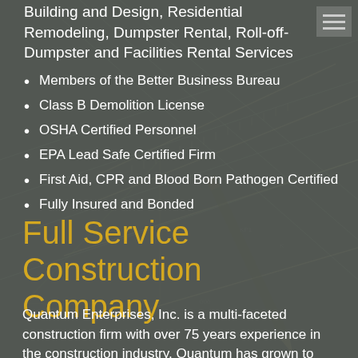Building and Design, Residential Remodeling, Dumpster Rental, Roll-off-Dumpster and Facilities Rental Services
Members of the Better Business Bureau
Class B Demolition License
OSHA Certified Personnel
EPA Lead Safe Certified Firm
First Aid, CPR and Blood Born Pathogen Certified
Fully Insured and Bonded
Full Service Construction Company
Quantum Enterprises, Inc. is a multi-faceted construction firm with over 75 years experience in the construction industry. Quantum has grown to become one of the area's leading full-service construction companies. Quantum